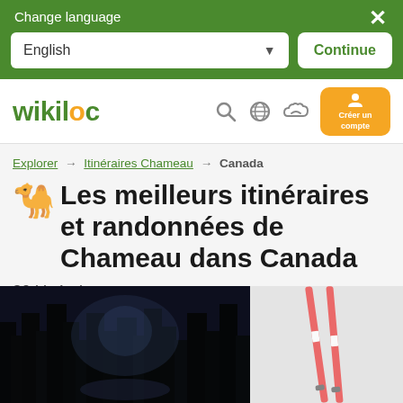Change language
English
Continue
[Figure (logo): Wikiloc logo with camel icon]
Explorer → Itinéraires Chameau → Canada
Les meilleurs itinéraires et randonnées de Chameau dans Canada
30 itinéraires
[Figure (photo): Dark forest trail photo]
[Figure (photo): Red and white ski poles on snow]